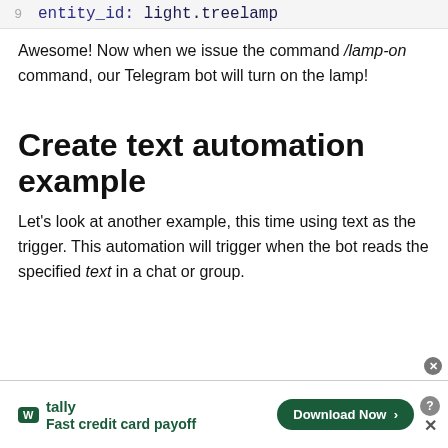[Figure (screenshot): Code snippet showing line 9 with 'entity_id: light.treelamp' in syntax-highlighted monospace font]
Awesome! Now when we issue the command /lamp-on command, our Telegram bot will turn on the lamp!
Create text automation example
Let's look at another example, this time using text as the trigger. This automation will trigger when the bot reads the specified text in a chat or group.
[Figure (screenshot): Tally advertisement banner: 'Fast credit card payoff' with Download Now button]